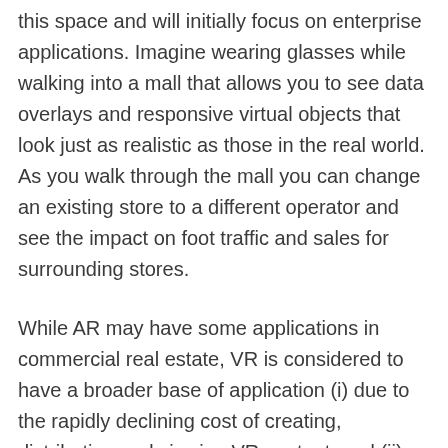this space and will initially focus on enterprise applications. Imagine wearing glasses while walking into a mall that allows you to see data overlays and responsive virtual objects that look just as realistic as those in the real world. As you walk through the mall you can change an existing store to a different operator and see the impact on foot traffic and sales for surrounding stores.
While AR may have some applications in commercial real estate, VR is considered to have a broader base of application (i) due to the rapidly declining cost of creating, distributing and viewing VR content, and (ii) that various studies have shown 75 percent of people can’t visualize what an empty space can look like when built out or look at 2-D floor plan and develop an accurate 3-D mental image of a building’s design. When combined with all of